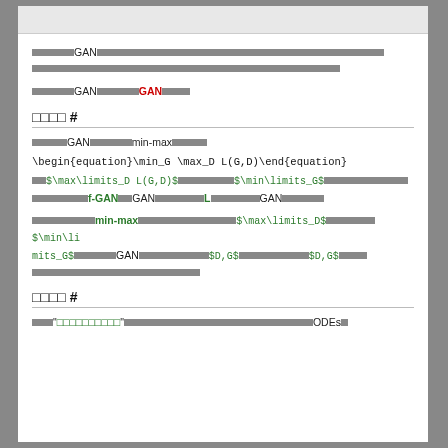□□□□□□□GAN□□□□□□□□□□□□□□□□□□□□□□□□□□□□□□□□□□□□□□□□□□□□□□□□□□□□□□□□□□□□□□□□□□□□□□□□□□□□□□□□□□□□□□□□□□□□□□□□□□□□□□□□□□□□□□□□□□□□□□□□□□□□□□□□□□□□□□□□□□□□□□□□□□□□□□□□□□□□□□□□□□□□□□□□□□□□□□□□□□
□□□□□□□GAN□□□□□□□GAN□□□□□
□□□□ #
□□□□□□GAN□□□□□□□min-max□□□□□□
□□$\max\limits_D L(G,D)$□□□□□□□□□□$\min\limits_G$□□□□□□□□□□□□□□□□□□□□□f-GAN□□GAN□□□□□□□□□□L□□□□□□□□□GAN□□□□□□□□
□□□□□□□□□□min-max□□□□□□□□□□□□□□□□□$\max\limits_D$□□□□□□□□$\min\limits_G$□□□□□□□□□□GAN□□□□□□□□□□□□□$D,G$□□□□□□□□□□□□□□□$D,G$□□□□□□□□□□□□□□□□□□□□□□□□□□□□□□□□
□□□□ #
□□□□"□□□□□□□□□□"□□□□□□□□□□□□□□□□□□□□□□□□□□□□□□□ODEs□